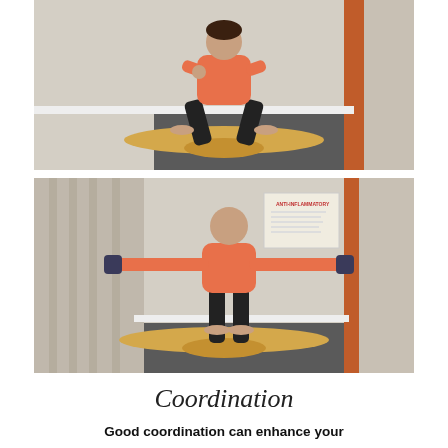[Figure (photo): Person in orange/pink shirt performing a squat exercise on a curved wooden balance board, in a gym room with gray curtains and an orange wall accent.]
[Figure (photo): Person in orange/pink shirt standing on a curved wooden balance board with arms extended sideways holding dumbbells, in the same gym room with gray curtains and orange wall accent. An anti-inflammatory poster is visible on the wall.]
Coordination
Good coordination can enhance your